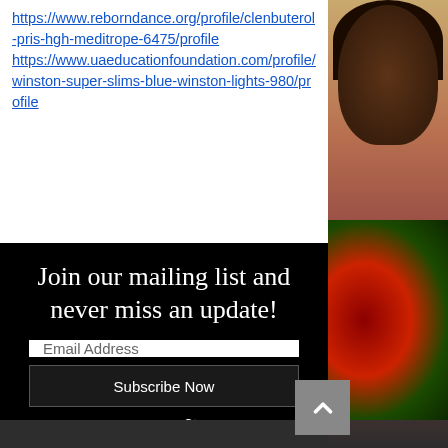https://www.reborndance.org/profile/clenbuterol-pris-hgh-meditrope-6475/profile https://www.uaeducationfoundation.com/profile/winston-super-slims-blue-winston-lights-980/profile
[Figure (photo): Partial photo of a smiling woman with curly hair holding red roses, on the right side of the page.]
Join our mailing list and never miss an update!
Email Address
Subscribe Now
[Figure (infographic): Social media icons: Facebook, Instagram, Twitter, YouTube]